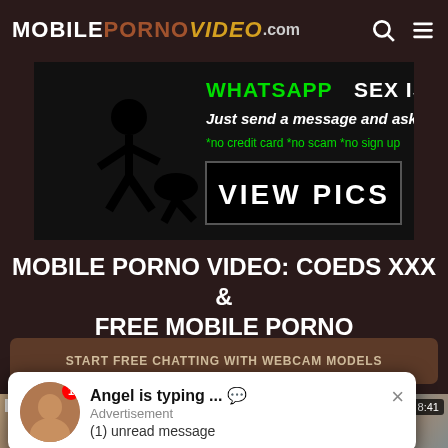MOBILEPORNOVIDEO.com
[Figure (infographic): Advertisement banner: WHATSAPP SEX IS BACK! Just send a message and ask to fuck. *no credit card *no scam *no sign up. VIEW PICS]
MOBILE PORNO VIDEO: COEDS XXX & FREE MOBILE PORNO
START FREE CHATTING WITH WEBCAM MODELS
[Figure (screenshot): Video thumbnail left: Hustler branded video, duration 1:10:50, scene with two people]
[Figure (screenshot): Video thumbnail right: duration 8:41, scene with woman]
Blue ... Ruined
coeds XXX
girl on girl porn
...
Ass Domina, Milfs Diana Ri...sts
huge boobs
big boobs XXX
...
Angel is typing ... 💬 Advertisement (1) unread message